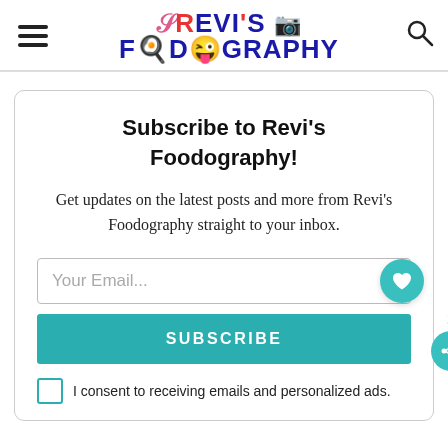Revi's Foodography - navigation header with hamburger menu, logo, and search icon
Subscribe to Revi's Foodography!
Get updates on the latest posts and more from Revi's Foodography straight to your inbox.
Your Email...
SUBSCRIBE
I consent to receiving emails and personalized ads.